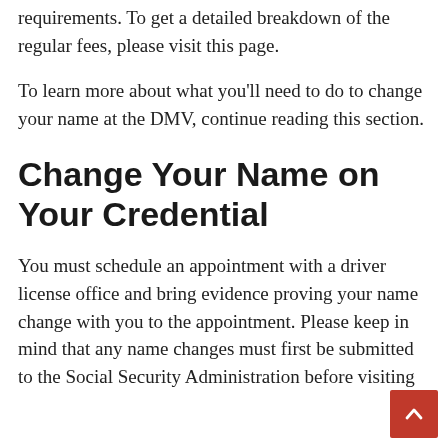requirements. To get a detailed breakdown of the regular fees, please visit this page.
To learn more about what you'll need to do to change your name at the DMV, continue reading this section.
Change Your Name on Your Credential
You must schedule an appointment with a driver license office and bring evidence proving your name change with you to the appointment. Please keep in mind that any name changes must first be submitted to the Social Security Administration before visiting a driver license office. For the Social Security